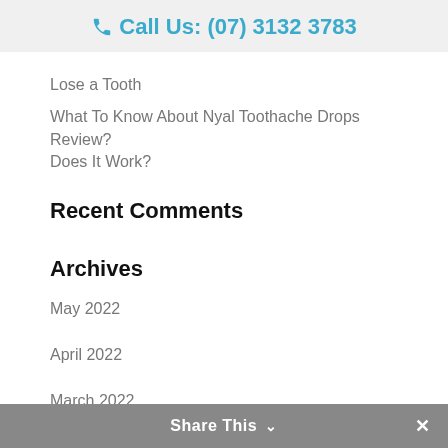Call Us: (07) 3132 3783
Lose a Tooth
What To Know About Nyal Toothache Drops Review? Does It Work?
Recent Comments
Archives
May 2022
April 2022
March 2022
February 2022
December 2021
November 2021
October 2021
Share This